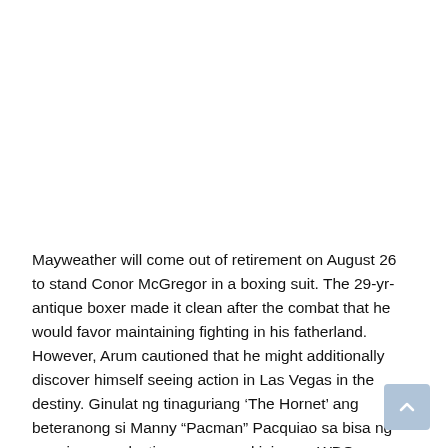Mayweather will come out of retirement on August 26 to stand Conor McGregor in a boxing suit. The 29-yr-antique boxer made it clean after the combat that he would favor maintaining fighting in his fatherland. However, Arum cautioned that he might additionally discover himself seeing action in Las Vegas in the destiny. Ginulat ng tinaguriang ‘The Hornet’ ang beteranong si Manny “Pacman” Pacquiao sa bisa ng unanimous selection upang angkinin ang WBO welterweight name sa Harap ng